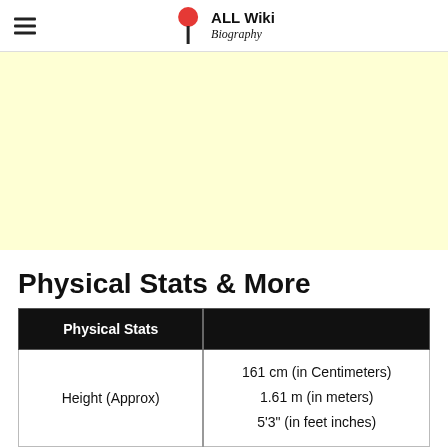ALL Wiki Biography
[Figure (other): Light yellow advertisement banner placeholder]
Physical Stats & More
| Physical Stats |  |
| --- | --- |
| Height (Approx) | 161 cm (in Centimeters)
1.61 m (in meters)
5'3" (in feet inches) |